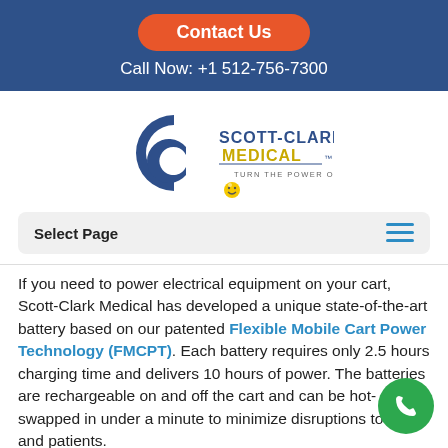Contact Us
Call Now: +1 512-756-7300
[Figure (logo): Scott-Clark Medical logo with stylized CC letters, text 'SCOTT-CLARK MEDICAL TURN THE POWER ON...' and a small yellow smiley face icon]
Select Page
If you need to power electrical equipment on your cart, Scott-Clark Medical has developed a unique state-of-the-art battery based on our patented Flexible Mobile Cart Power Technology (FMCPT). Each battery requires only 2.5 hours charging time and delivers 10 hours of power. The batteries are rechargeable on and off the cart and can be hot-swapped in under a minute to minimize disruptions to staff and patients.